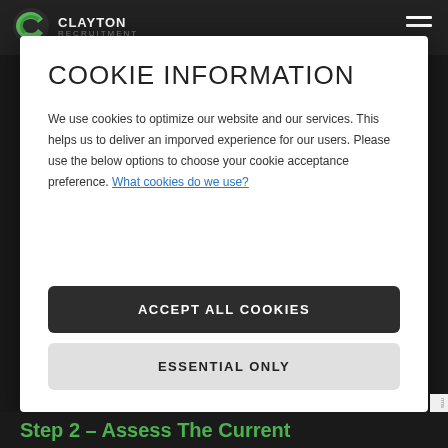[Figure (logo): Clayton Recruitment logo with green C icon and white bold text]
COOKIE INFORMATION
We use cookies to optimize our website and our services. This helps us to deliver an imporved experience for our users. Please use the below options to choose your cookie acceptance preference. What cookies do we use?
ACCEPT ALL COOKIES
ESSENTIAL ONLY
Step 2 – Assess The Current